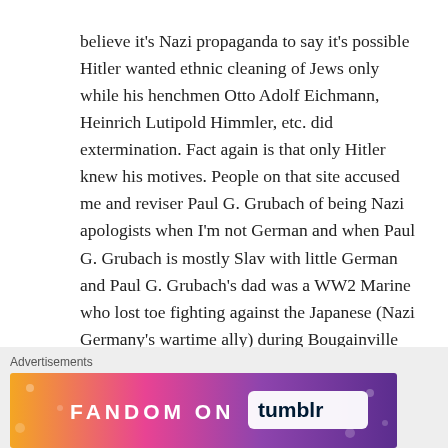believe it's Nazi propaganda to say it's possible Hitler wanted ethnic cleaning of Jews only while his henchmen Otto Adolf Eichmann, Heinrich Lutipold Himmler, etc. did extermination. Fact again is that only Hitler knew his motives. People on that site accused me and reviser Paul G. Grubach of being Nazi apologists when I'm not German and when Paul G. Grubach is mostly Slav with little German and Paul G. Grubach's dad was a WW2 Marine who lost toe fighting against the Japanese (Nazi Germany's wartime ally) during Bougainville Battle.
Advertisements
[Figure (other): Fandom on Tumblr advertisement banner with colorful gradient background (orange to purple) and white bold text reading FANDOM ON tumblr]